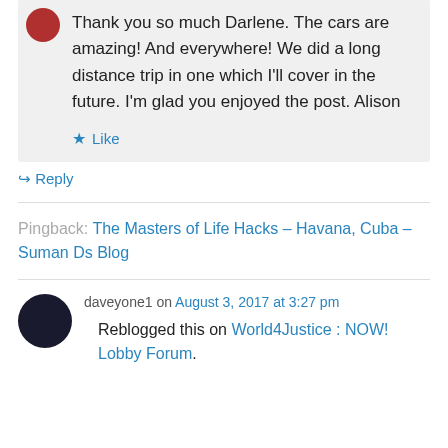Thank you so much Darlene. The cars are amazing! And everywhere! We did a long distance trip in one which I'll cover in the future. I'm glad you enjoyed the post. Alison
Like
Reply
Pingback: The Masters of Life Hacks – Havana, Cuba – Suman Ds Blog
daveyone1 on August 3, 2017 at 3:27 pm
Reblogged this on World4Justice : NOW! Lobby Forum